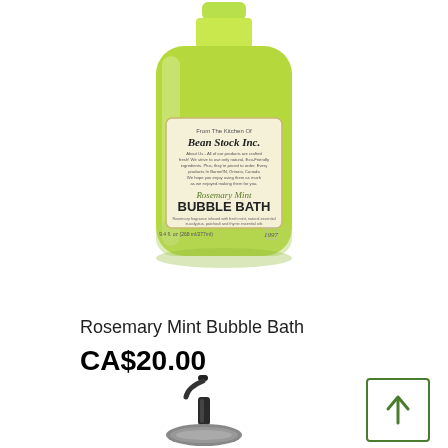[Figure (photo): A glass bottle of Rosemary Mint Bubble Bath by Bean Stock Inc., filled with yellow-green liquid, with a product label showing brand name, description, and '1997' marking.]
Rosemary Mint Bubble Bath
CA$20.00
[Figure (photo): A black pump dispenser top/cap, partially visible at the bottom of the page.]
[Figure (other): A green-bordered square button with an upward arrow icon, likely a scroll-to-top button.]